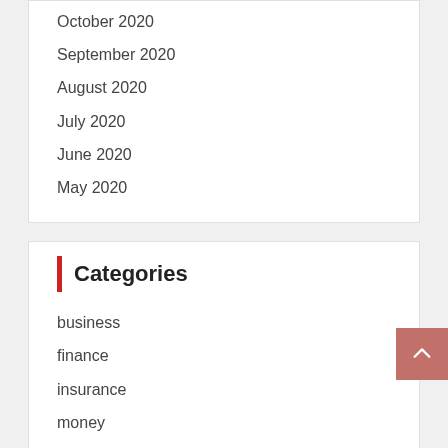October 2020
September 2020
August 2020
July 2020
June 2020
May 2020
Categories
business
finance
insurance
money
personal
SEPTEMBER 2022